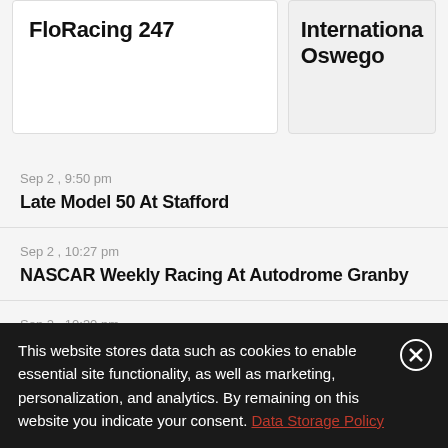FloRacing 247
International Oswego
Sep 2 , 9:50 pm
Late Model 50 At Stafford
Sep 2 , 10:27 pm
NASCAR Weekly Racing At Autodrome Granby
Sep 2 , 10:30 pm
This website stores data such as cookies to enable essential site functionality, as well as marketing, personalization, and analytics. By remaining on this website you indicate your consent. Data Storage Policy